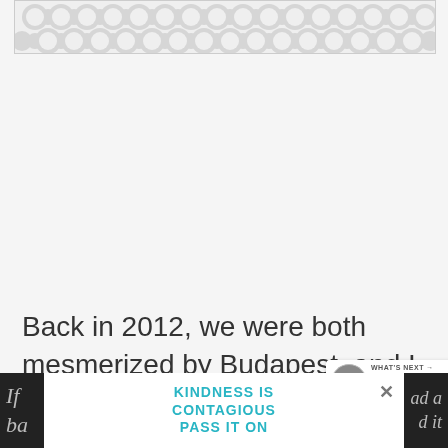[Figure (illustration): Decorative banner with repeating circular dot-chain pattern in light gray on white background, bordered with a thin gray outline]
[Figure (infographic): Floating teal circular like/heart button showing 5.6K likes, and a white circular share button below it on the right side]
Back in 2012, we were both mesmerized by Budapest, and I described the city like
[Figure (infographic): What's Next callout box with circular icon, label 'WHAT'S NEXT →' and title 'Post-Humanist Berlin: The...']
[Figure (infographic): Bottom advertisement banner: 'KINDNESS IS CONTAGIOUS PASS IT ON' in teal on white background with close X button, overlaid on dark background with partially visible italic text]